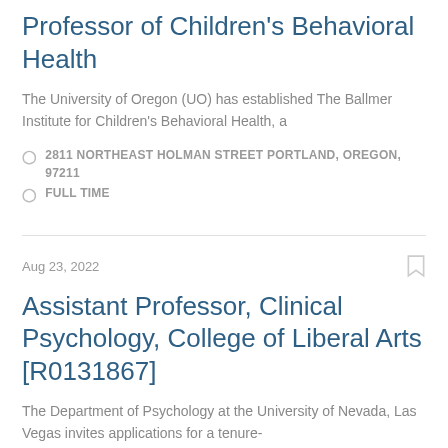Professor of Children's Behavioral Health
The University of Oregon (UO) has established The Ballmer Institute for Children's Behavioral Health, a
2811 NORTHEAST HOLMAN STREET PORTLAND, OREGON, 97211
FULL TIME
Aug 23, 2022
Assistant Professor, Clinical Psychology, College of Liberal Arts [R0131867]
The Department of Psychology at the University of Nevada, Las Vegas invites applications for a tenure-